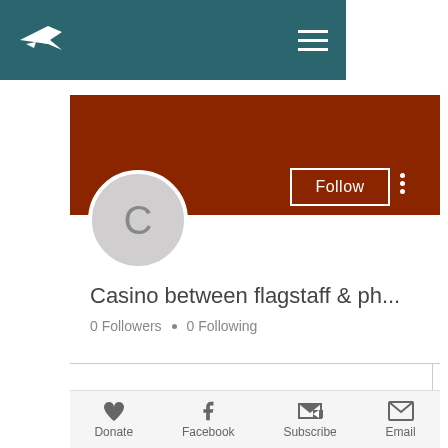[Figure (screenshot): Mobile website screenshot showing a navigation bar with a plane logo and hamburger menu on teal background, a dark red profile cover, a circular avatar with letter C, a Follow button, profile name Casino between flagstaff & ph..., 0 Followers and 0 Following stats, a tab row with chevron, partial Profile heading, and bottom action bar with Donate, Facebook, Subscribe, Email icons.]